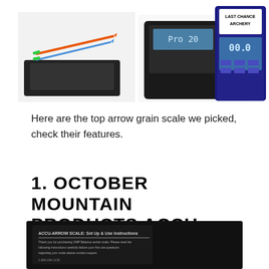[Figure (photo): Three product images at top: left shows archery scale with arrows, center shows a digital pocket scale (black), right shows Last Chance Archery digital scale with blue LCD display]
Here are the top arrow grain scale we picked, check their features.
1. OCTOBER MOUNTAIN PRODUCTS ACCU-ARROW DIGITAL ARCHERY SCALE
[Figure (photo): Bottom partial image of a black product (archery scale) with instruction text visible]